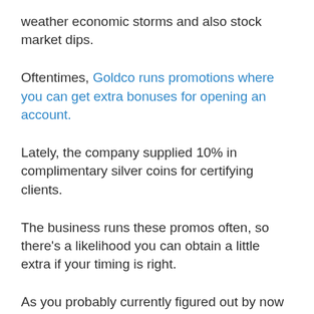weather economic storms and also stock market dips.
Oftentimes, Goldco runs promotions where you can get extra bonuses for opening an account.
Lately, the company supplied 10% in complimentary silver coins for certifying clients.
The business runs these promos often, so there’s a likelihood you can obtain a little extra if your timing is right.
As you probably currently figured out by now that Goldco is a legit service with numerous customers who rely on the firm with their